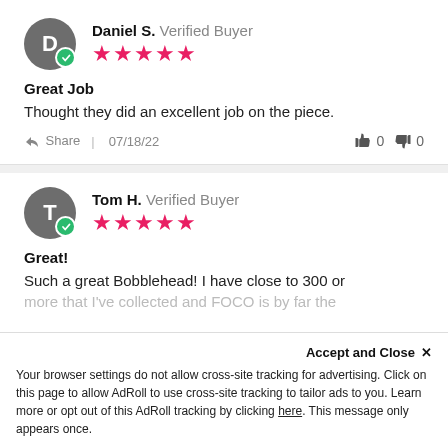Daniel S. Verified Buyer ★★★★★
Great Job
Thought they did an excellent job on the piece.
Share | 07/18/22  👍 0  👎 0
Tom H. Verified Buyer ★★★★★
Great!
Such a great Bobblehead! I have close to 300 or more that I've collected and FOCO is by far the best quality!
Accept and Close ✕
Your browser settings do not allow cross-site tracking for advertising. Click on this page to allow AdRoll to use cross-site tracking to tailor ads to you. Learn more or opt out of this AdRoll tracking by clicking here. This message only appears once.